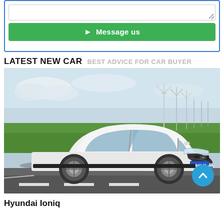[Figure (screenshot): Message us form with textarea and green submit button inside a blue border box]
LATEST NEW CAR   BEST ADVICE FOR CAR BUYER
[Figure (photo): White Hyundai Ioniq hybrid car driving on a road with wind turbines in the background, license plate OF IQ 92]
Hyundai Ioniq